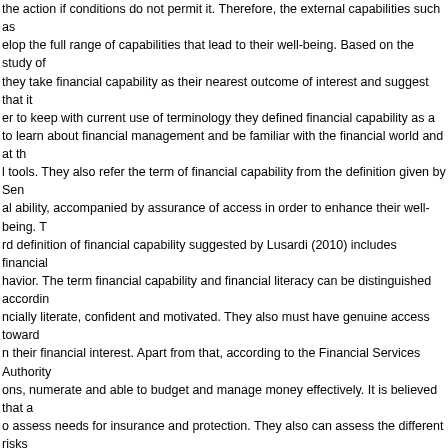the action if conditions do not permit it. Therefore, the external capabilities such as develop the full range of capabilities that lead to their well-being. Based on the study of they take financial capability as their nearest outcome of interest and suggest that it er to keep with current use of terminology they defined financial capability as a to learn about financial management and be familiar with the financial world and at th l tools. They also refer the term of financial capability from the definition given by Sen al ability, accompanied by assurance of access in order to enhance their well-being. T rd definition of financial capability suggested by Lusardi (2010) includes financial havior. The term financial capability and financial literacy can be distinguished according ncially literate, confident and motivated. They also must have genuine access toward n their financial interest. Apart from that, according to the Financial Services Authority ons, numerate and able to budget and manage money effectively. It is believed that a o assess needs for insurance and protection. They also can assess the different risks eat understanding of the wider ethical, social, political and environmental dimensions al matters. Financial capability cannot be measured simply by looking at one indicator y encompasses multiple aspects of behavior relating to how individuals manage their he skills they use. It is a multi-dimensional concept that requires looking at individual sing on four key components of financial capability which is making ends meet, stayin fferent components or domains in measuring financial capability. Therefore, the Major kowledge and behavior. Relatively little is known about the financial capability of young ongst the young and unemployed are lack of financial capability. Concern with the cape and the current financial crisis, indicate that there is a growing need in improving the young and household which dated from 1991 to 2009 were found in the reviewed tish Household Panel Survey (BHPS) in order to examine the degrees of association e's financial capability covering years 1991 to 2006. In this study, they conducted a or on financial capability that represented by the variables. Ideas, USA es are people's perceived financial situation; whether their financial situation has